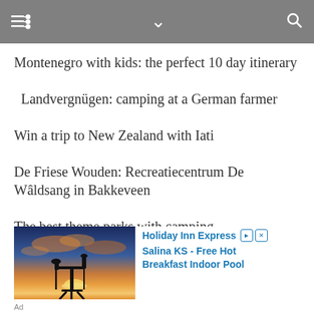Navigation bar with menu, chevron, and search icons
Montenegro with kids: the perfect 10 day itinerary
Landvergnügen: camping at a German farmer
Win a trip to New Zealand with Iati
De Friese Wouden: Recreatiecentrum De Wâldsang in Bakkeveen
The best theme parks with camping
2017 summary & giveaway
[Figure (photo): Advertisement image showing an oil pump silhouette against a sunset sky]
Holiday Inn Express  Salina KS - Free Hot Breakfast Indoor Pool
Ad